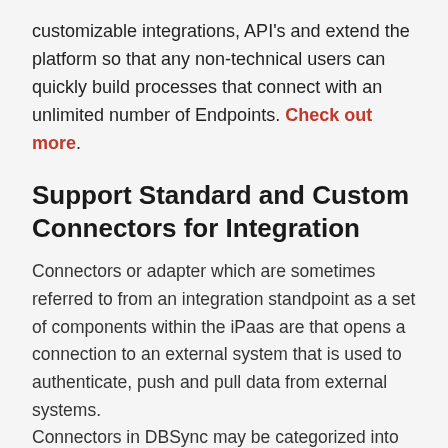customizable integrations, API's and extend the platform so that any non-technical users can quickly build processes that connect with an unlimited number of Endpoints. Check out more.
Support Standard and Custom Connectors for Integration
Connectors or adapter which are sometimes referred to from an integration standpoint as a set of components within the iPaas are that opens a connection to an external system that is used to authenticate, push and pull data from external systems.
Connectors in DBSync may be categorized into two types
Standard Connectors
The standard connector presents a published, constant Interface (API) to users and other components on the